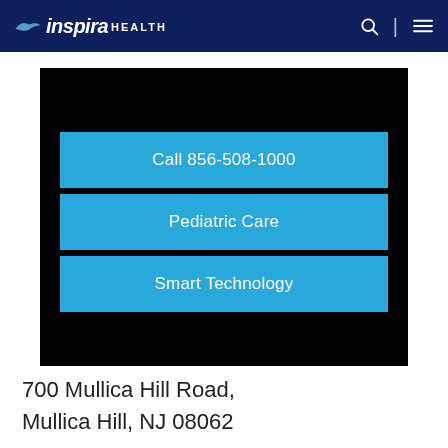inspira HEALTH
[Figure (screenshot): Black background promotional panel with three blue call-to-action buttons: 'Call 856-508-1000', 'Pediatric Care', 'Smart Technology']
700 Mullica Hill Road, Mullica Hill, NJ 08062